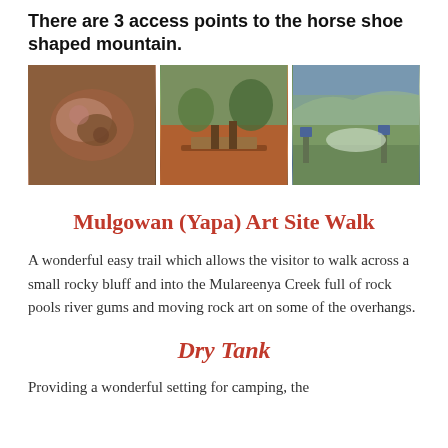There are 3 access points to the horse shoe shaped mountain.
[Figure (photo): Three photos side by side: left shows close-up of rock art with red/brown tones, center shows two people at a picnic table on red dirt with trees, right shows rocky mountain landscape with shrubs and info signs.]
Mulgowan (Yapa) Art Site Walk
A wonderful easy trail which allows the visitor to walk across a small rocky bluff and into the Mulareenya Creek full of rock pools river gums and moving rock art on some of the overhangs.
Dry Tank
Providing a wonderful setting for camping, the